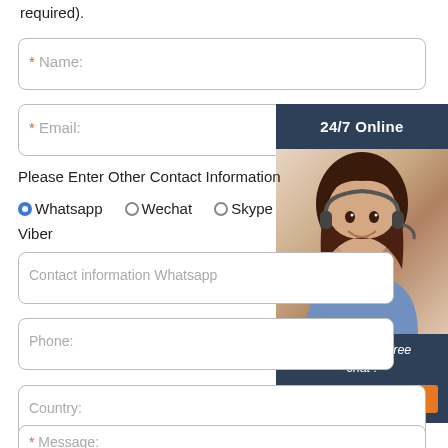required).
* Name:
* Email:
Please Enter Other Contact Information
●Whatsapp  ○Wechat  ○Skype  Viber
Contact information Whatsapp
Phone:
Country:
* Message:
[Figure (photo): Customer service representative woman wearing headset, 24/7 Online chat widget with orange QUOTATION button]